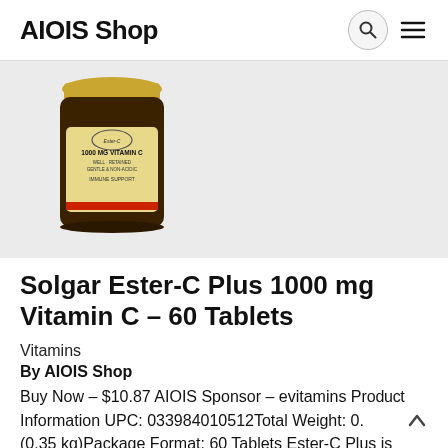AIOIS Shop
[Figure (photo): Product photo of Solgar Ester-C Plus 1000 MG Vitamin C supplement bottle with gold lid and label showing immune support]
Solgar Ester-C Plus 1000 mg Vitamin C – 60 Tablets
Vitamins
By AIOIS Shop
Buy Now – $10.87 AIOIS Sponsor – evitamins Product Information UPC: 033984010512Total Weight: 0. (0.35 kg)Package Format: 60 Tablets Ester-C Plus is